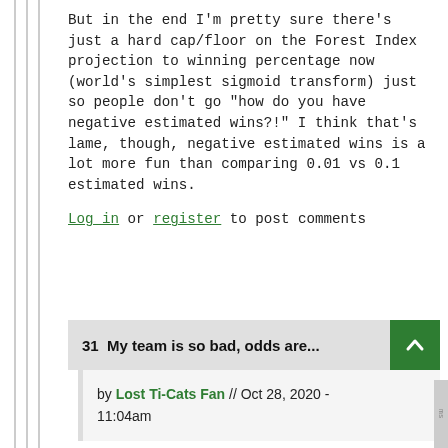But in the end I'm pretty sure there's just a hard cap/floor on the Forest Index projection to winning percentage now (world's simplest sigmoid transform) just so people don't go "how do you have negative estimated wins?!" I think that's lame, though, negative estimated wins is a lot more fun than comparing 0.01 vs 0.1 estimated wins.
Log in or register to post comments
31  My team is so bad, odds are...
by Lost Ti-Cats Fan // Oct 28, 2020 - 11:04am